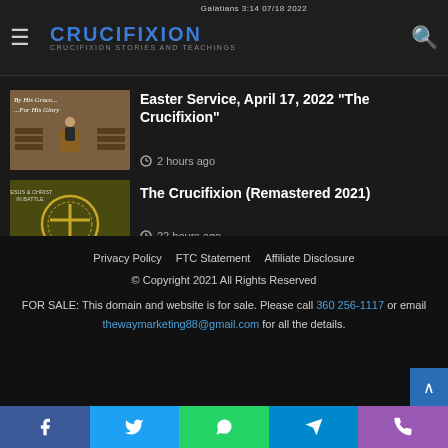CRUCIFIXION — CRUCIFIXION STORIES AND TEACHINGS
Galatians 3:14 07/18 2022
[Figure (screenshot): Thumbnail of Easter Service – church interior with preacher at pulpit, text overlay 'By His Grace... For His Glory']
Easter Service, April 17, 2022 "The Crucifixion"
2 hours ago
[Figure (illustration): Thumbnail of The Crucifixion Remastered 2021 – dark olive background with golden circular emblem/cross symbol]
The Crucifixion (Remastered 2021)
22 hours ago
Privacy Policy   FTC Statement   Affiliate Disclosure
© Copyright 2021 All Rights Reserved
FOR SALE: This domain and website is for sale. Please call 360 256-1117 or email thewaymarketing88@gmail.com for all the details.